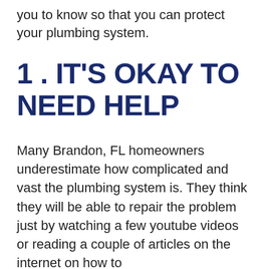you to know so that you can protect your plumbing system.
1 . IT'S OKAY TO NEED HELP
Many Brandon, FL homeowners underestimate how complicated and vast the plumbing system is. They think they will be able to repair the problem just by watching a few youtube videos or reading a couple of articles on the internet on how to